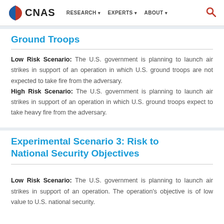CNAS | RESEARCH | EXPERTS | ABOUT
Ground Troops
Low Risk Scenario: The U.S. government is planning to launch air strikes in support of an operation in which U.S. ground troops are not expected to take fire from the adversary.
High Risk Scenario: The U.S. government is planning to launch air strikes in support of an operation in which U.S. ground troops expect to take heavy fire from the adversary.
Experimental Scenario 3: Risk to National Security Objectives
Low Risk Scenario: The U.S. government is planning to launch air strikes in support of an operation. The operation's objective is of low value to U.S. national security.